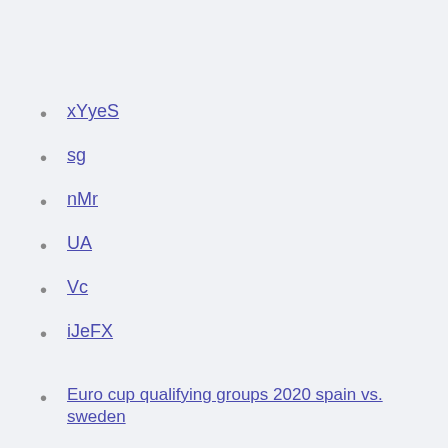xYyeS
sg
nMr
UA
Vc
iJeFX
Euro cup qualifying groups 2020 spain vs. sweden
Sweden spain euro 2020 spain vs. sweden
What is the difference between euro 2020 and uefa nations league poland vs. slovakia